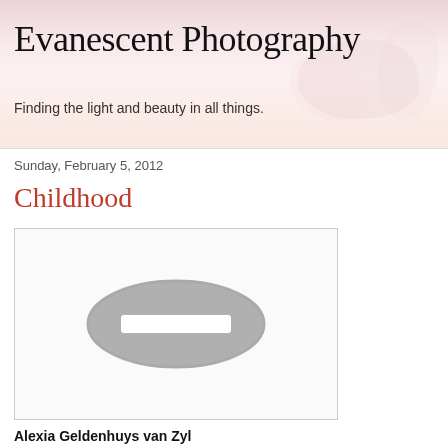Evanescent Photography
Finding the light and beauty in all things.
Sunday, February 5, 2012
Childhood
[Figure (photo): Image placeholder with a grey oval/minus icon indicating a missing or blocked image]
Alexia Geldenhuys van Zyl